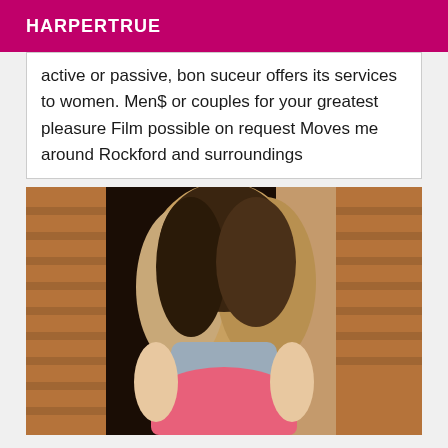HARPERTRUE
active or passive, bon suceur offers its services to women. Men$ or couples for your greatest pleasure Film possible on request Moves me around Rockford and surroundings
[Figure (photo): Person with long blonde hair viewed from behind, wearing a grey top and pink underwear, in an indoor setting with brick walls]